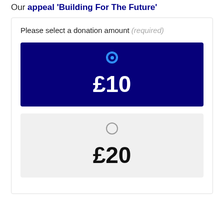Our appeal 'Building For The Future'
Please select a donation amount (required)
£10 (selected)
£20 (unselected)